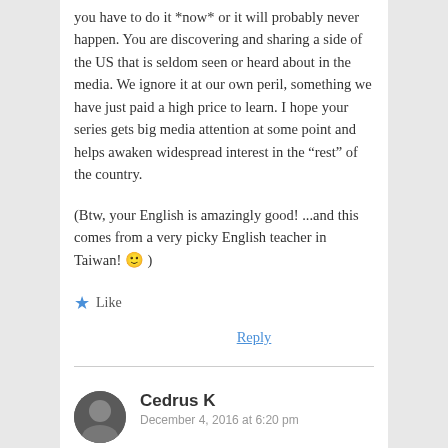you have to do it *now* or it will probably never happen. You are discovering and sharing a side of the US that is seldom seen or heard about in the media. We ignore it at our own peril, something we have just paid a high price to learn. I hope your series gets big media attention at some point and helps awaken widespread interest in the “rest” of the country.
(Btw, your English is amazingly good! ...and this comes from a very picky English teacher in Taiwan! 🙂 )
★ Like
Reply
Cedrus K
December 4, 2016 at 6:20 pm